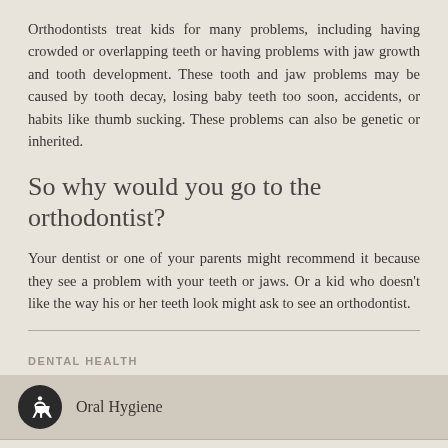Orthodontists treat kids for many problems, including having crowded or overlapping teeth or having problems with jaw growth and tooth development. These tooth and jaw problems may be caused by tooth decay, losing baby teeth too soon, accidents, or habits like thumb sucking. These problems can also be genetic or inherited.
So why would you go to the orthodontist?
Your dentist or one of your parents might recommend it because they see a problem with your teeth or jaws. Or a kid who doesn't like the way his or her teeth look might ask to see an orthodontist.
DENTAL HEALTH
Oral Hygiene
Child Dentistry